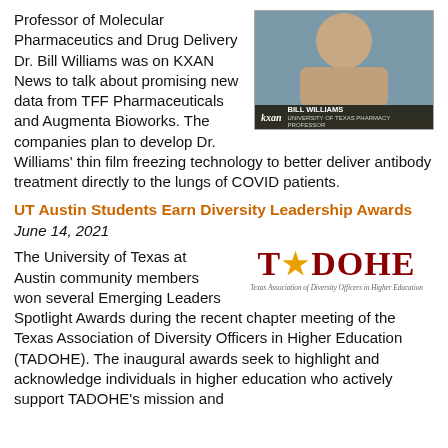[Figure (screenshot): TV news screenshot showing Bill Williams, University of Texas Pharmacy Professor, on KXAN news broadcast]
Professor of Molecular Pharmaceutics and Drug Delivery Dr. Bill Williams was on KXAN News to talk about promising new data from TFF Pharmaceuticals and Augmenta Bioworks. The companies plan to develop Dr. Williams' thin film freezing technology to better deliver antibody treatment directly to the lungs of COVID patients.
UT Austin Students Earn Diversity Leadership Awards
June 14, 2021
[Figure (logo): TADOHE logo - Texas Association of Diversity Officers in Higher Education, with gold star replacing the letter A]
The University of Texas at Austin community members won several Emerging Leaders Spotlight Awards during the recent chapter meeting of the Texas Association of Diversity Officers in Higher Education (TADOHE). The inaugural awards seek to highlight and acknowledge individuals in higher education who actively support TADOHE's mission and